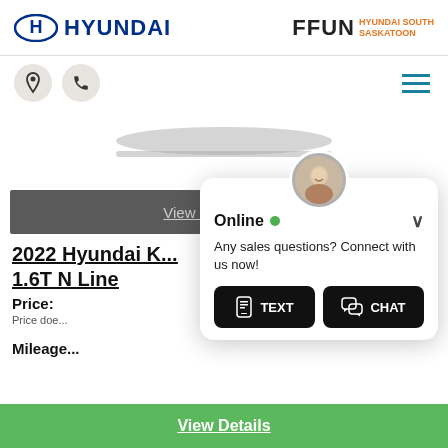[Figure (logo): Hyundai logo with H emblem and HYUNDAI wordmark on the left; FFUN HYUNDAI SOUTH SASKATOON logo on the right]
[Figure (illustration): Location pin icon and phone icon in circular beige buttons; hamburger menu icon in teal on the right]
[Figure (photo): Partial bottom of a vehicle image visible]
View more Photos
2022 Hyundai K... 1.6T N Line
Price:
Price doe...
Mileage...
[Figure (screenshot): Chat popup overlay with agent avatar, Online status with green dot, message 'Any sales questions? Connect with us now!' and TEXT and CHAT buttons]
View Details